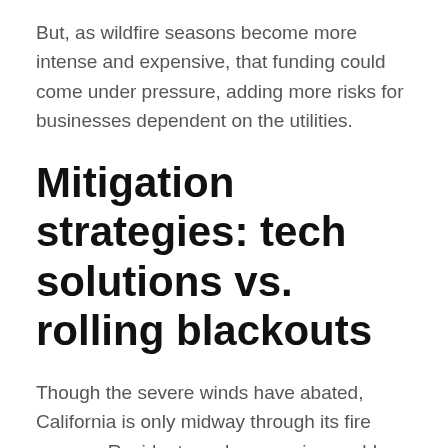But, as wildfire seasons become more intense and expensive, that funding could come under pressure, adding more risks for businesses dependent on the utilities.
Mitigation strategies: tech solutions vs. rolling blackouts
Though the severe winds have abated, California is only midway through its fire season. Residents and companies could face more hazardous conditions before year's end.
Aurimond and a team of researchers at Bank of America Merrill Lynch note that the most destructive wildfires in 2017 and 2018 occurred later in the calendar year. The